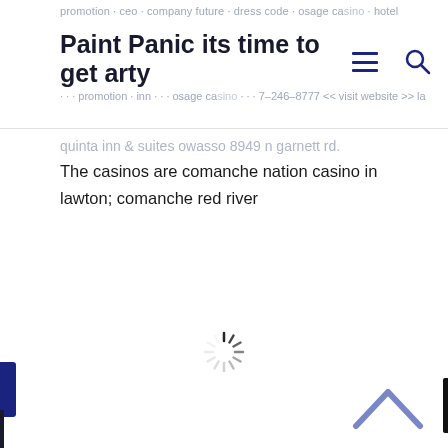promotion · ceo · company future · dress code · osage casino · hotel · 7-246-8777 << visit website >> la quinta inn & suites owasso 8949 n garnett rd.
Paint Panic its time to get arty
quinta inn & suites owasso 8949 n garnett rd. The casinos are comanche nation casino in lawton; comanche red river